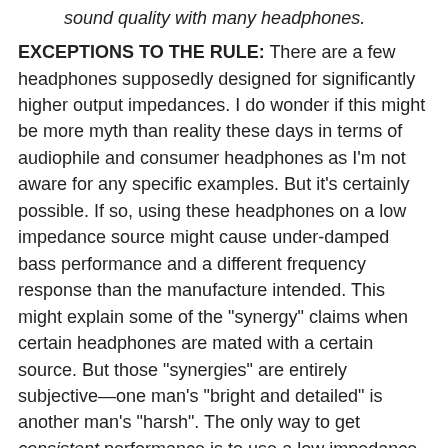sound quality with many headphones.
EXCEPTIONS TO THE RULE: There are a few headphones supposedly designed for significantly higher output impedances. I do wonder if this might be more myth than reality these days in terms of audiophile and consumer headphones as I’m not aware for any specific examples. But it’s certainly possible. If so, using these headphones on a low impedance source might cause under-damped bass performance and a different frequency response than the manufacture intended. This might explain some of the “synergy” claims when certain headphones are mated with a certain source. But those “synergies” are entirely subjective—one man’s “bright and detailed” is another man’s “harsh”. The only way to get consistent performance is to use a low impedance source and follow the 1/8th Rule.
A CHEAP TEST: If you’re wondering if your current source is compromising the sound quality because of an unknown output impedance, consider buying the $19 FiiO E5 amp. It has a near zero ohm output impedance and has enough output for most many headphones under 100 ohms. If it